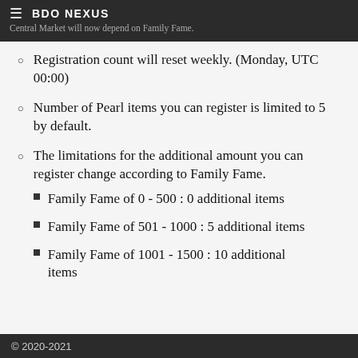Central Market will now depend on Family Fame. | BDO NEXUS
Registration count will reset weekly. (Monday, UTC 00:00)
Number of Pearl items you can register is limited to 5 by default.
The limitations for the additional amount you can register change according to Family Fame.
Family Fame of 0 - 500 : 0 additional items
Family Fame of 501 - 1000 : 5 additional items
Family Fame of 1001 - 1500 : 10 additional items
© 2020-2021